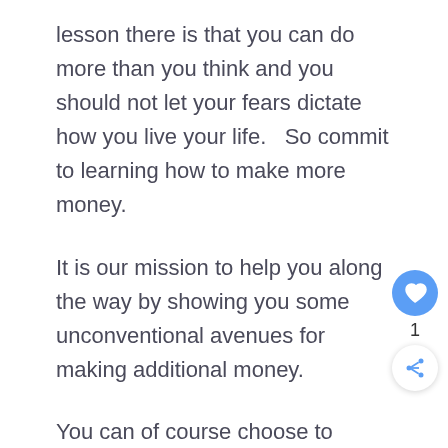lesson there is that you can do more than you think and you should not let your fears dictate how you live your life.   So commit to learning how to make more money.
It is our mission to help you along the way by showing you some unconventional avenues for making additional money.
You can of course choose to increase your income by getting raises and promotions at your job or finding a new job that pays more. Or working on improving the profitability of